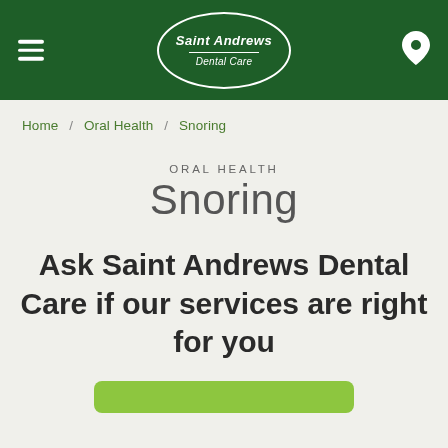Saint Andrews Dental Care
Home / Oral Health / Snoring
ORAL HEALTH
Snoring
Ask Saint Andrews Dental Care if our services are right for you